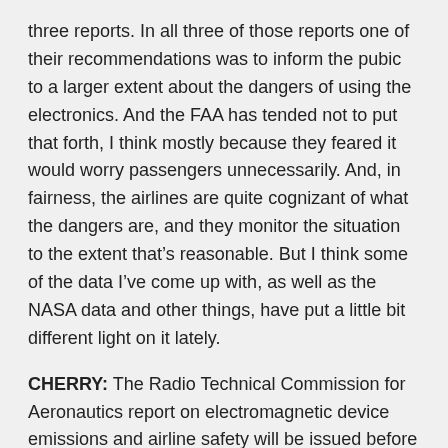three reports. In all three of those reports one of their recommendations was to inform the pubic to a larger extent about the dangers of using the electronics. And the FAA has tended not to put that forth, I think mostly because they feared it would worry passengers unnecessarily. And, in fairness, the airlines are quite cognizant of what the dangers are, and they monitor the situation to the extent that’s reasonable. But I think some of the data I’ve come up with, as well as the NASA data and other things, have put a little bit different light on it lately.
CHERRY: The Radio Technical Commission for Aeronautics report on electromagnetic device emissions and airline safety will be issued before the end of this year. Meanwhile, the FCC, which asked for public